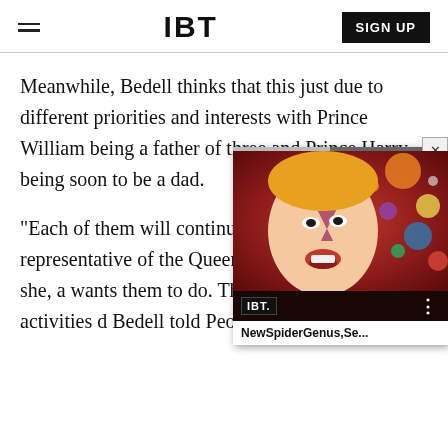IBT | SIGN UP
Meanwhile, Bedell thinks that this just due to different priorities and interests with Prince William being a father of three and Prince Harry being soon to be a dad.
"Each of them will continue the very strong representative of the Queen and assignments that she, a wants them to do. They are this diffusion of activities d Bedell told People.
[Figure (screenshot): IBT video widget overlay showing a colorful artistic portrait (David Bowie-style) with planets in background, IBT logo, three-dot menu, progress bar, close button (×), and title bar reading 'NewSpiderGenus,Se...']